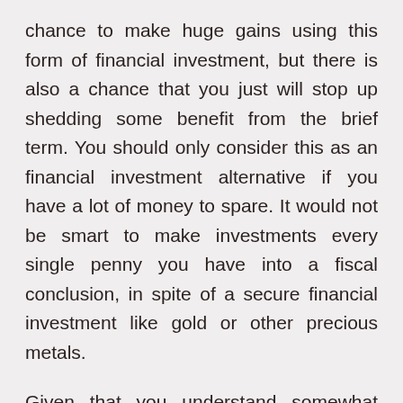chance to make huge gains using this form of financial investment, but there is also a chance that you just will stop up shedding some benefit from the brief term. You should only consider this as an financial investment alternative if you have a lot of money to spare. It would not be smart to make investments every single penny you have into a fiscal conclusion, in spite of a secure financial investment like gold or other precious metals.
Given that you understand somewhat about numerous gold financial commitment choices, you must determine out how to proceed and not to perform in the event you hope to generally be successful. Below are many handy tips: